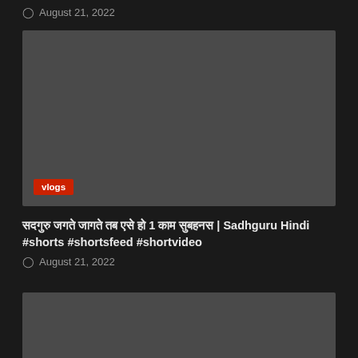August 21, 2022
[Figure (screenshot): Dark gray video thumbnail placeholder with a red 'vlogs' badge in the bottom left corner]
सदगुरु जगते जागते तब ऐसे हो 1 काम सुबहनस | Sadhguru Hindi #shorts #shortsfeed #shortvideo
August 21, 2022
[Figure (screenshot): Dark gray video thumbnail placeholder with a red back-to-top button in the top right corner]